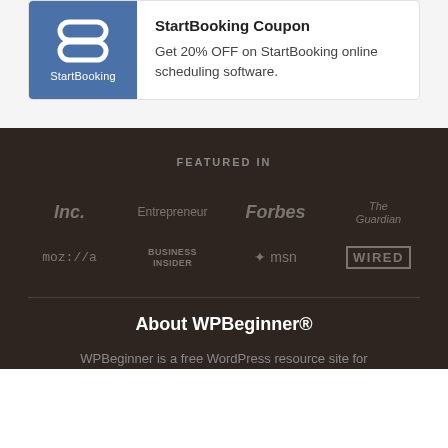StartBooking Coupon
Get 20% OFF on StartBooking online scheduling software.
FEATURED IN
[Figure (logo): Inc. logo]
[Figure (logo): Entrepreneur logo]
[Figure (logo): Forbes logo]
[Figure (logo): The Guardian logo]
[Figure (logo): moz://a logo]
[Figure (logo): Business Insider logo]
[Figure (logo): msn logo]
[Figure (logo): WIRED logo]
About WPBeginner®
WPBeginner is a free WordPress resource site for